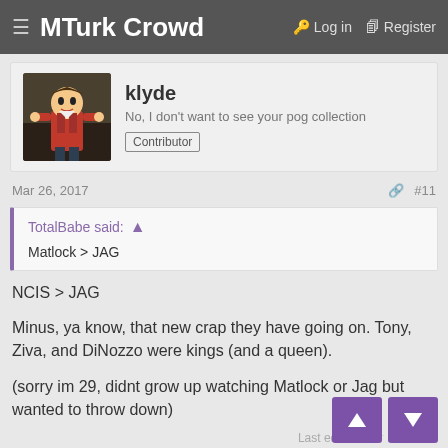≡ MTurk Crowd   🔑 Log in  🗋 Register
[Figure (illustration): User avatar for klyde: animated cartoon character in dark setting]
klyde
No, I don't want to see your pog collection  Contributor
Mar 26, 2017   #11
TotalBabe said: ↑
Matlock > JAG
NCIS > JAG
Minus, ya know, that new crap they have going on. Tony, Ziva, and DiNozzo were kings (and a queen).
(sorry im 29, didnt grow up watching Matlock or Jag but wanted to throw down)
Last edited: M…
PhantomCatt